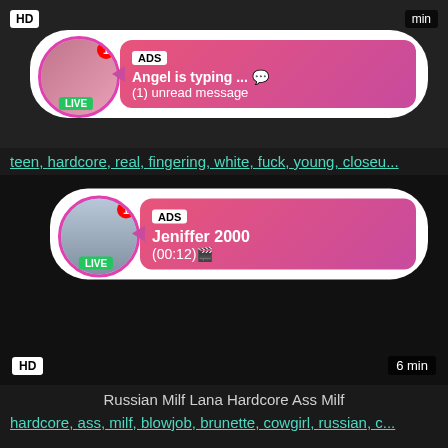[Figure (screenshot): Video thumbnail block 1 with HD badge, ad popup showing 'Angel is typing ... (1) unread message' with avatar and LIVE badge]
teen, hardcore, real, fingering, white, fuck, young, closeu...
[Figure (screenshot): Video thumbnail block 2 with ad popup showing 'Jeniffer 2000 (00:12)' with avatar and LIVE badge, HD badge, 6 min label]
Russian Milf Lana Hardcore Ass Milf
hardcore, ass, milf, blowjob, brunette, cowgirl, russian, c...